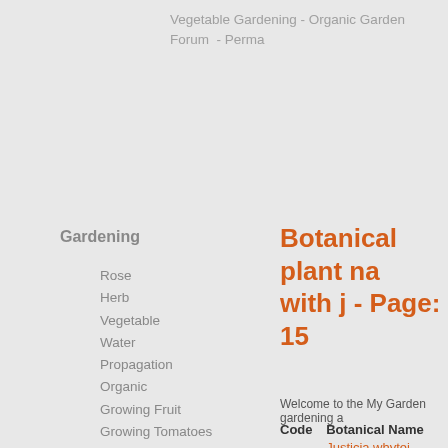Vegetable Gardening - Organic Garden Forum - Perma
Botanical plant na with j - Page: 15
Gardening
Rose
Herb
Vegetable
Water
Propagation
Organic
Growing Fruit
Growing Tomatoes
Composting
Soil
All about Sheds
Container
Hydroponics
Flower
Welcome to the My Garden gardening a
| Code | Botanical Name |
| --- | --- |
| 15500 | Justicia whytei S.Moore |
| 15501 | Justicia wittei Mildbr. |
| 15502 | Justicia woodii C.B.Clarke |
| 15503 | Justicia woodsiae S.Moore |
| 31855 | Jacaranda mimosifolia D.D |